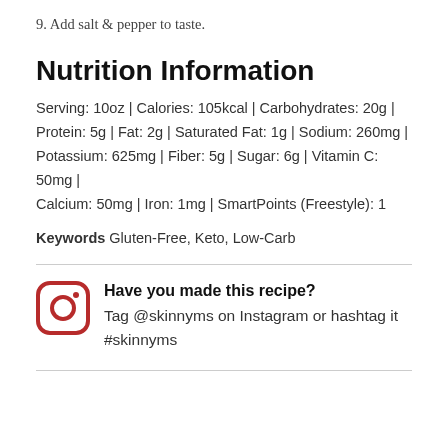9. Add salt & pepper to taste.
Nutrition Information
Serving: 10oz | Calories: 105kcal | Carbohydrates: 20g | Protein: 5g | Fat: 2g | Saturated Fat: 1g | Sodium: 260mg | Potassium: 625mg | Fiber: 5g | Sugar: 6g | Vitamin C: 50mg | Calcium: 50mg | Iron: 1mg | SmartPoints (Freestyle): 1
Keywords Gluten-Free, Keto, Low-Carb
[Figure (logo): Instagram logo icon — rounded square with camera outline and inner circle, in dark red/maroon color]
Have you made this recipe? Tag @skinnyms on Instagram or hashtag it #skinnyms